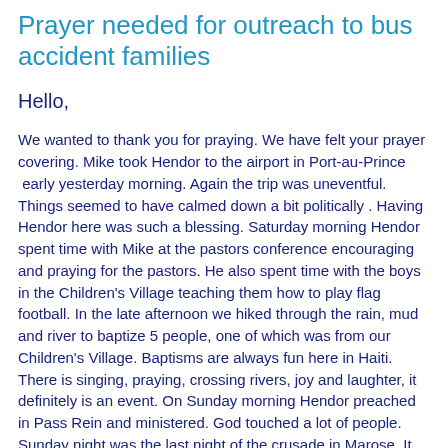Prayer needed for outreach to bus accident families
Hello,
We wanted to thank you for praying. We have felt your prayer covering. Mike took Hendor to the airport in Port-au-Prince  early yesterday morning. Again the trip was uneventful. Things seemed to have calmed down a bit politically . Having Hendor here was such a blessing. Saturday morning Hendor spent time with Mike at the pastors conference encouraging and praying for the pastors. He also spent time with the boys in the Children's Village teaching them how to play flag football. In the late afternoon we hiked through the rain, mud and river to baptize 5 people, one of which was from our Children's Village. Baptisms are always fun here in Haiti. There is singing, praying, crossing rivers, joy and laughter, it definitely is an event. On Sunday morning Hendor preached in Pass Rein and ministered. God touched a lot of people. Sunday night was the last night of the crusade in Marose. It was a great night of worship. Hendor preached again and did ministry. It was his last night preaching and some of the pastors felt led to pray over him.